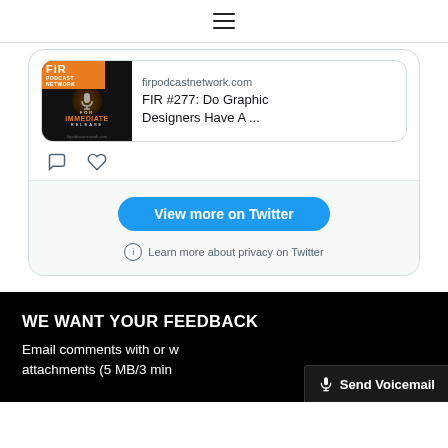≡ (hamburger menu icon)
[Figure (screenshot): Twitter/X embedded tweet card showing a link preview for firpodcastnetwork.com with title 'FIR #277: Do Graphic Designers Have A ...' along with comment and like icons, a 'View more on Twitter' button, and a 'Learn more about privacy on Twitter' link.]
WE WANT YOUR FEEDBACK
Email comments with or without attachments (5 MB/3 minute limit) to